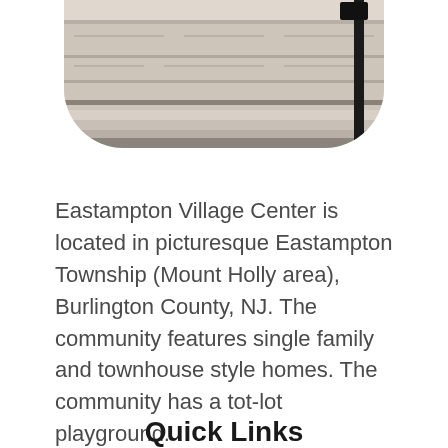[Figure (photo): Partial view of a building exterior with stone steps and a black lamp post, cropped with rounded bottom corners]
Eastampton Village Center is located in picturesque Eastampton Township (Mount Holly area), Burlington County, NJ. The community features single family and townhouse style homes. The community has a tot-lot playground.
Quick Links